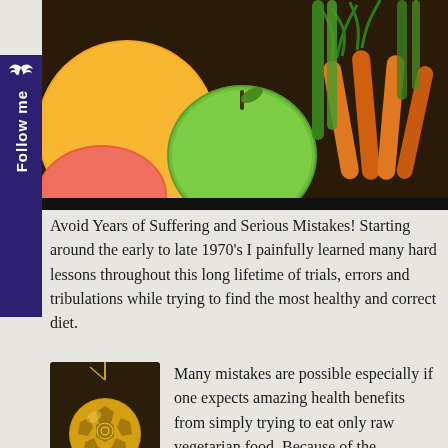[Figure (photo): Colorful fruits and vegetables - oranges, green apple, carrots, green onions arranged together]
[Figure (other): Decorative gold geometric ball pendant on a chain against dark background]
Avoid Years of Suffering and Serious Mistakes! Starting around the early to late 1970's I painfully learned many hard lessons throughout this long lifetime of trials, errors and tribulations while trying to find the most healthy and correct diet.
Many mistakes are possible especially if one expects amazing health benefits from simply trying to eat only raw vegetarian food. Because of the complexity of the human body, ability to absorb nutrients, individual needs, stress and pollution, it is no